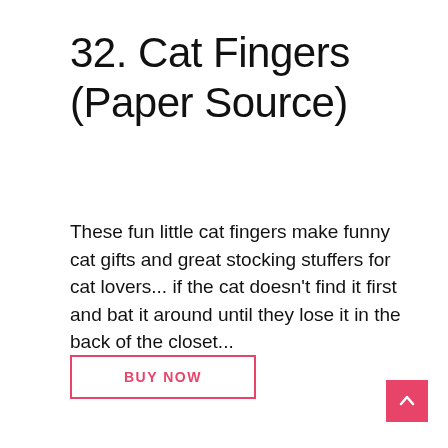32. Cat Fingers (Paper Source)
These fun little cat fingers make funny cat gifts and great stocking stuffers for cat lovers... if the cat doesn't find it first and bat it around until they lose it in the back of the closet...
BUY NOW